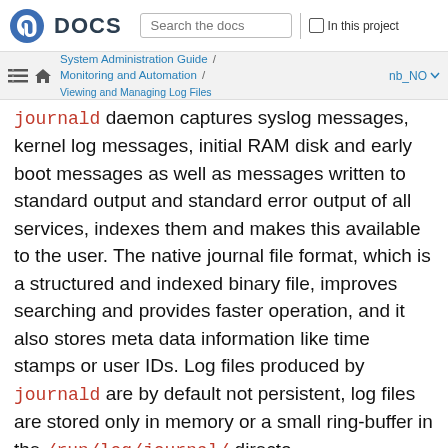Fedora DOCS — Search the docs | In this project
System Administration Guide / Monitoring and Automation / Viewing and Managing Log Files — nb_NO
journald daemon captures syslog messages, kernel log messages, initial RAM disk and early boot messages as well as messages written to standard output and standard error output of all services, indexes them and makes this available to the user. The native journal file format, which is a structured and indexed binary file, improves searching and provides faster operation, and it also stores meta data information like time stamps or user IDs. Log files produced by journald are by default not persistent, log files are stored only in memory or a small ring-buffer in the /run/log/journal/ directory. The amount of data stored depends